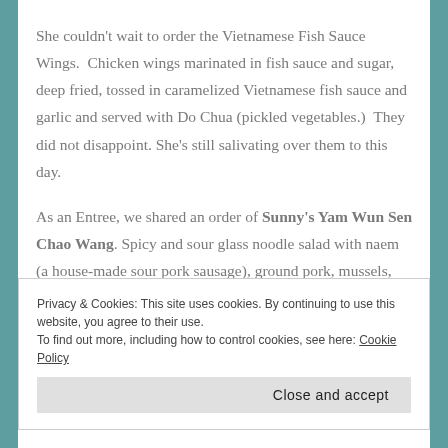She couldn't wait to order the Vietnamese Fish Sauce Wings.  Chicken wings marinated in fish sauce and sugar, deep fried, tossed in caramelized Vietnamese fish sauce and garlic and served with Do Chua (pickled vegetables.)  They did not disappoint. She's still salivating over them to this day.
As an Entree, we shared an order of Sunny's Yam Wun Sen Chao Wang. Spicy and sour glass noodle salad with naem (a house-made sour pork sausage), ground pork, mussels, dry shrimp, Chinese celery, pickled garlic, Thai
Privacy & Cookies: This site uses cookies. By continuing to use this website, you agree to their use.
To find out more, including how to control cookies, see here: Cookie Policy
Close and accept